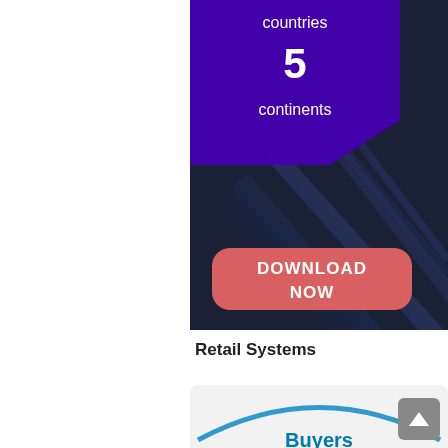[Figure (infographic): Banner with dark building photo background, purple overlay box showing '5 continents', and a pink/red rounded 'DOWNLOAD NOW' button]
countries
5
continents
DOWNLOAD NOW
Retail Systems
[Figure (illustration): Buyers guide card with blue arc logo and 'Buyers' text in teal/blue at top]
Buyers